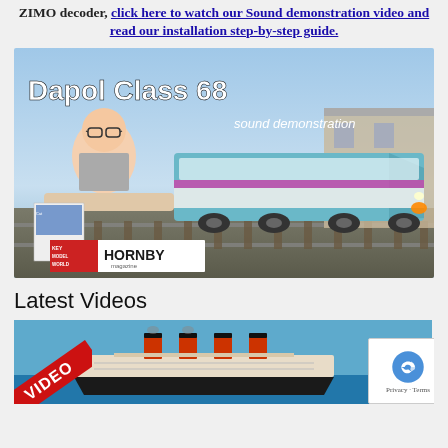ZIMO decoder, click here to watch our Sound demonstration video and read our installation step-by-step guide.
[Figure (photo): Dapol Class 68 sound demonstration thumbnail image showing a Hornby magazine branded video with a model train (Class 68 locomotive in TransPennine livery) and a presenter, with key model world and Hornby magazine logos.]
Latest Videos
[Figure (photo): Video thumbnail showing a model ship (Titanic) on a blue background, with a diagonal red VIDEO banner in the lower left and a reCAPTCHA privacy badge overlaid in the bottom right corner.]